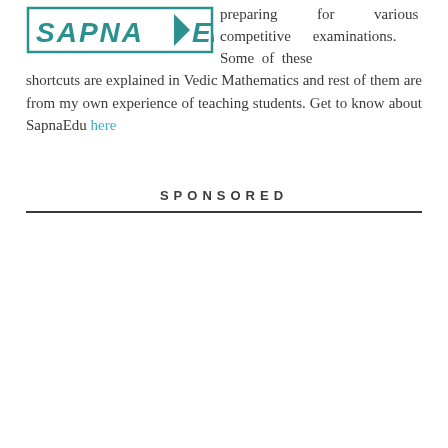[Figure (logo): SapnaEdu logo with teal colored italic text in a bordered box with arrow]
preparing for various competitive examinations. Some of these shortcuts are explained in Vedic Mathematics and rest of them are from my own experience of teaching students. Get to know about SapnaEdu here
SPONSORED